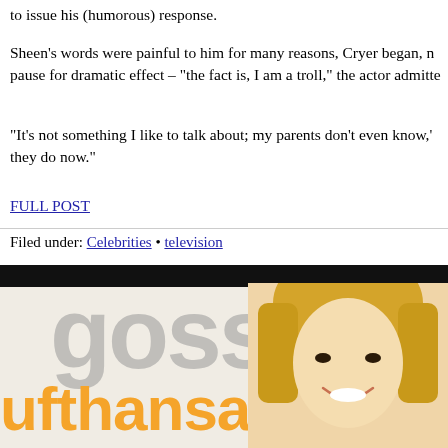to issue his (humorous) response.
Sheen’s words were painful to him for many reasons, Cryer began, n pause for dramatic effect – “the fact is, I am a troll,” the actor admitte
“It’s not something I like to talk about; my parents don’t even know,’ they do now.”
FULL POST
Filed under: Celebrities • television
[Figure (photo): Photo of a blonde smiling woman (celebrity) at what appears to be a Lufthansa event. A partial Lufthansa logo in orange is visible at the bottom left. Behind the woman, large gray gossip-style text is partially visible.]